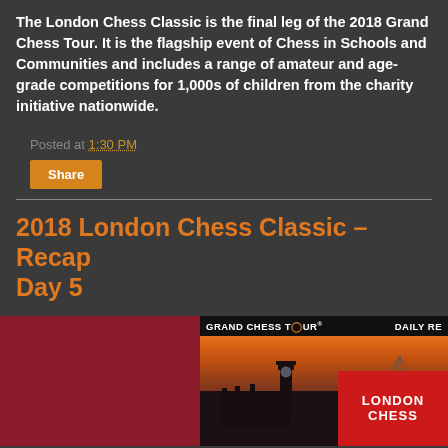The London Chess Classic is the final leg of the 2018 Grand Chess Tour. It is the flagship event of Chess in Schools and Communities and includes a range of amateur and age-grade competitions for 1,000s of children from the charity initiative nationwide.
Posted at 1:30 PM
Share
2018 London Chess Classic – Recap Day 5
[Figure (photo): Image split into two parts: left side shows a dark red/maroon color background, right side shows a Grand Chess Tour Daily Recap banner with London skyline at sunset featuring Big Ben and the London Eye, with a red LONDON CHESS overlay text.]